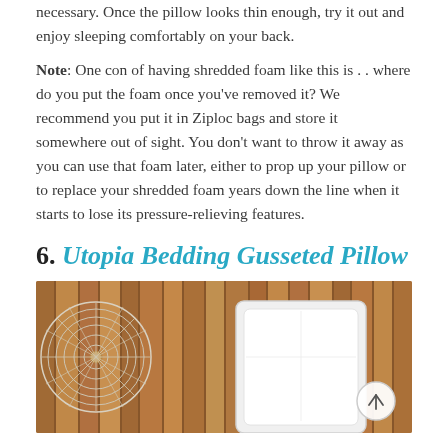necessary. Once the pillow looks thin enough, try it out and enjoy sleeping comfortably on your back.
Note: One con of having shredded foam like this is . . where do you put the foam once you've removed it? We recommend you put it in Ziploc bags and store it somewhere out of sight. You don't want to throw it away as you can use that foam later, either to prop up your pillow or to replace your shredded foam years down the line when it starts to lose its pressure-relieving features.
6. Utopia Bedding Gusseted Pillow
[Figure (photo): A bedroom scene showing a white pillow leaning against a wooden headboard with vertical slats, and a decorative round woven wall art piece on the left side. A scroll-to-top button with an arrow is visible in the bottom right of the image.]